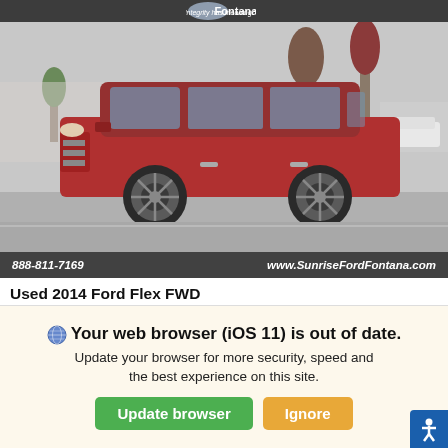[Figure (photo): Red 2014 Ford Flex FWD SUV parked in a dealer lot with palm trees in background. Dealer header shows 'Fontana' and logo. Bottom bar shows phone 888-811-7169 and website www.SunriseFordFontana.com]
Used 2014 Ford Flex FWD
SEL SUV Sport Utility 6-Speed Automatic w/OD    107,764 Miles
Retail Price
Your web browser (iOS 11) is out of date. Update your browser for more security, speed and the best experience on this site.
Update browser
Ignore